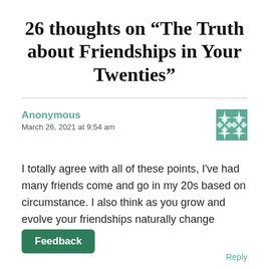26 thoughts on “The Truth about Friendships in Your Twenties”
Anonymous
March 26, 2021 at 9:54 am
[Figure (illustration): Decorative teal geometric avatar icon with diamond/star pattern]
I totally agree with all of these points, I've had many friends come and go in my 20s based on circumstance. I also think as you grow and evolve your friendships naturally change anyway x
Feedback
Reply